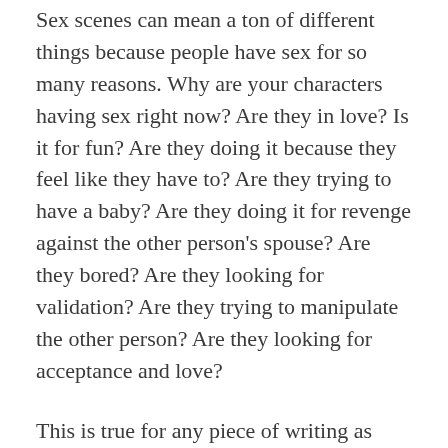Sex scenes can mean a ton of different things because people have sex for so many reasons. Why are your characters having sex right now? Are they in love? Is it for fun? Are they doing it because they feel like they have to? Are they trying to have a baby? Are they doing it for revenge against the other person's spouse? Are they bored? Are they looking for validation? Are they trying to manipulate the other person? Are they looking for acceptance and love?
This is true for any piece of writing as well, but: you can write two scenes where the EXACT same thing happens, but you swap the tone. You use different vernacular. You see it from a different character's point of view, and that completely changes what the scene means. So think about what each character is in